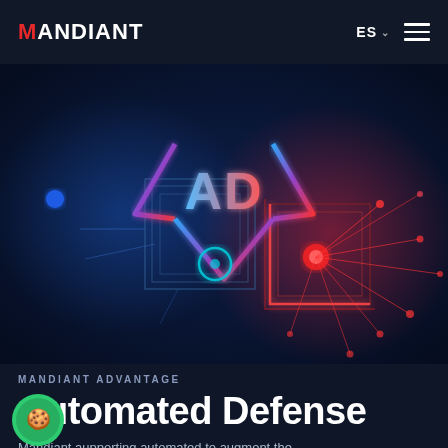MANDIANT — ES — menu
[Figure (illustration): Dark tech graphic showing stylized diamond/chevron shape with 'AD' letters in blue and red gradient on dark blue background. Blue circuit nodes on the left, red glowing network nodes and lines on the right. Sci-fi cybersecurity aesthetic.]
MANDIANT ADVANTAGE
Automated Defense
Mandiant aupporting automated to augment the